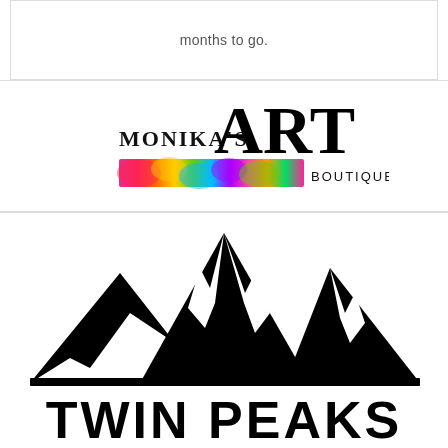months to go.
[Figure (logo): Monika's ART BOUTIQUE logo with colorful tie-dye banner]
[Figure (logo): Twin Peaks logo with mountain silhouette and bold text TWIN PEAKS]